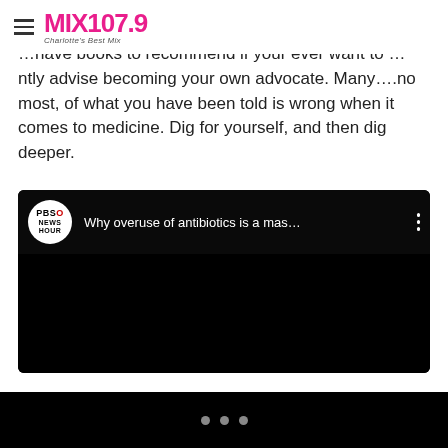MIX 107.9 — Charlotte's Best Mix
…have books to recommend if your ever want to …ntly advise becoming your own advocate. Many….no most, of what you have been told is wrong when it comes to medicine. Dig for yourself, and then dig deeper.
[Figure (screenshot): Embedded YouTube video thumbnail from PBS NewsHour titled 'Why overuse of antibiotics is a mas...' with black background and PBS NewsHour logo]
Navigation dots